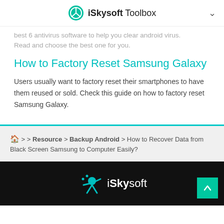iSkysoft Toolbox
best 6 antivirus software to help you clear android virus. Read and choose the best one for you.
How to Factory Reset Samsung Galaxy
Users usually want to factory reset their smartphones to have them reused or sold. Check this guide on how to factory reset Samsung Galaxy.
🏠 > > Resource > Backup Android > How to Recover Data from Black Screen Samsung to Computer Easily?
iSkysoft